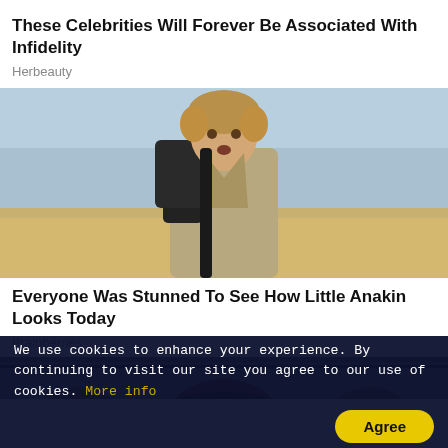[Figure (photo): Partial photo of celebrities at top of page (cropped, only bottom portion visible)]
These Celebrities Will Forever Be Associated With Infidelity
Herbeauty
[Figure (photo): Photo of young boy (Little Anakin) wearing a robe and backpack, standing on sandy terrain with a light blue sky background]
Everyone Was Stunned To See How Little Anakin Looks Today
Brainberries
[Figure (photo): Partial photo at bottom, showing top of a person's head with dark hair]
We use cookies to enhance your experience. By continuing to visit our site you agree to our use of cookies. More info
Agree